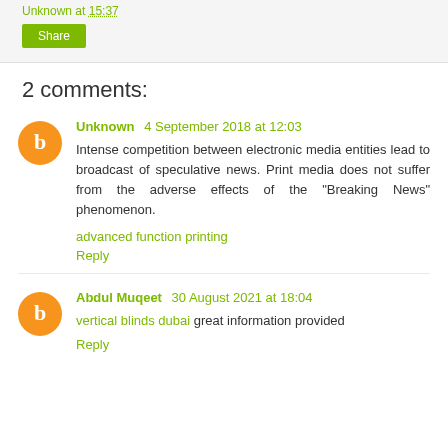Unknown at 15:37
Share
2 comments:
Unknown 4 September 2018 at 12:03
Intense competition between electronic media entities lead to broadcast of speculative news. Print media does not suffer from the adverse effects of the "Breaking News" phenomenon.
advanced function printing
Reply
Abdul Muqeet 30 August 2021 at 18:04
vertical blinds dubai great information provided
Reply